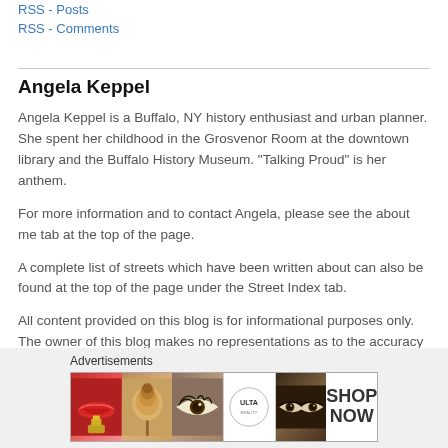RSS - Posts
RSS - Comments
Angela Keppel
Angela Keppel is a Buffalo, NY history enthusiast and urban planner. She spent her childhood in the Grosvenor Room at the downtown library and the Buffalo History Museum. "Talking Proud" is her anthem.
For more information and to contact Angela, please see the about me tab at the top of the page.
A complete list of streets which have been written about can also be found at the top of the page under the Street Index tab.
All content provided on this blog is for informational purposes only. The owner of this blog makes no representations as to the accuracy or
[Figure (advertisement): Ulta beauty advertisement banner with cosmetic images including lips, makeup brush, eye, Ulta logo, eyes, and SHOP NOW text]